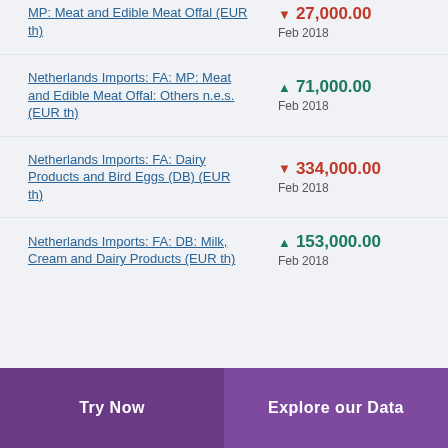MP: Meat and Edible Meat Offal (EUR th)
Netherlands Imports: FA: MP: Meat and Edible Meat Offal: Others n.e.s. (EUR th)
Netherlands Imports: FA: Dairy Products and Bird Eggs (DB) (EUR th)
Netherlands Imports: FA: DB: Milk, Cream and Dairy Products (EUR th)
Try Now | Explore our Data